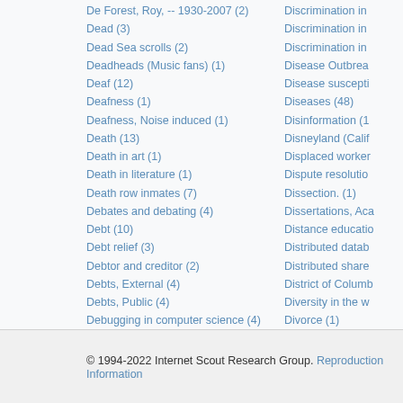De Forest, Roy, -- 1930-2007 (2)
Dead (3)
Dead Sea scrolls (2)
Deadheads (Music fans) (1)
Deaf (12)
Deafness (1)
Deafness, Noise induced (1)
Death (13)
Death in art (1)
Death in literature (1)
Death row inmates (7)
Debates and debating (4)
Debt (10)
Debt relief (3)
Debtor and creditor (2)
Debts, External (4)
Debts, Public (4)
Debugging in computer science (4)
Decapoda (Crustacea) (2)
Discrimination in
Discrimination in
Discrimination in
Disease Outbrea
Disease suscepti
Diseases (48)
Disinformation (1
Disneyland (Calif
Displaced worker
Dispute resolutio
Dissection. (1)
Dissertations, Aca
Distance educatio
Distributed datab
Distributed share
District of Columb
Diversity in the w
Divorce (1)
Divorced people (
Browse by GEM Subject
© 1994-2022 Internet Scout Research Group. Reproduction Information